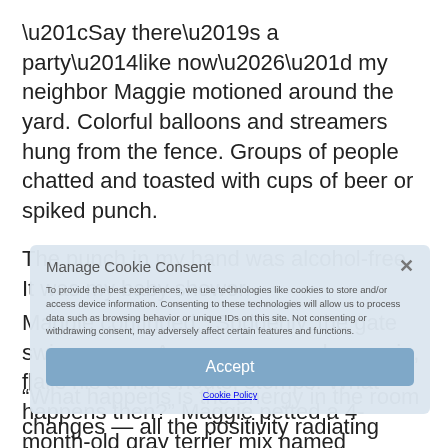“Say there’s a party—like now…” my neighbor Maggie motioned around the yard. Colorful balloons and streamers hung from the fence. Groups of people chatted and toasted with cups of beer or spiked punch.
The punch in my hand was alcohol-free. It was my baby shower.
Maggie continued, “Suddenly, the gate swings open. An angry person barges in, flails his arms, shouts, stomps. What happens then?” Maggie petted a 4-month-old gray terrier mix named Dandelion sitting by her side.
Manage Cookie Consent
To provide the best experiences, we use technologies like cookies to store and/or access device information. Consenting to these technologies will allow us to process data such as browsing behavior or unique IDs on this site. Not consenting or withdrawing consent, may adversely affect certain features and functions.
Accept
Cookie Policy
“What happens is the energy in the room changes — all the positivity radiating from